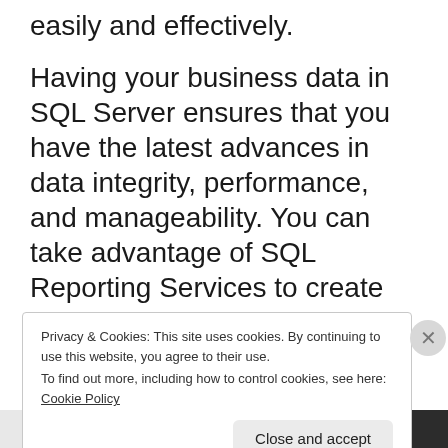easily and effectively.
Having your business data in SQL Server ensures that you have the latest advances in data integrity, performance, and manageability. You can take advantage of SQL Reporting Services to create Web-enabled reports, use integration tools like ACE eConnect templates to communicate seamlessly with other database applications, and restore your company
Privacy & Cookies: This site uses cookies. By continuing to use this website, you agree to their use.
To find out more, including how to control cookies, see here: Cookie Policy